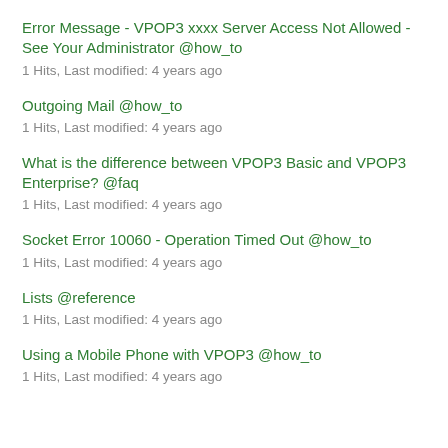Error Message - VPOP3 xxxx Server Access Not Allowed - See Your Administrator @how_to
1 Hits, Last modified: 4 years ago
Outgoing Mail @how_to
1 Hits, Last modified: 4 years ago
What is the difference between VPOP3 Basic and VPOP3 Enterprise? @faq
1 Hits, Last modified: 4 years ago
Socket Error 10060 - Operation Timed Out @how_to
1 Hits, Last modified: 4 years ago
Lists @reference
1 Hits, Last modified: 4 years ago
Using a Mobile Phone with VPOP3 @how_to
1 Hits, Last modified: 4 years ago